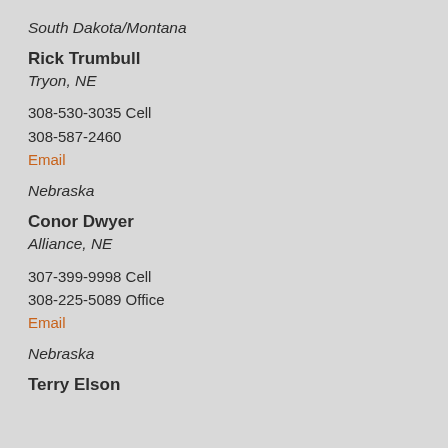South Dakota/Montana
Rick Trumbull
Tryon, NE
308-530-3035 Cell
308-587-2460
Email
Nebraska
Conor Dwyer
Alliance, NE
307-399-9998 Cell
308-225-5089 Office
Email
Nebraska
Terry Elson